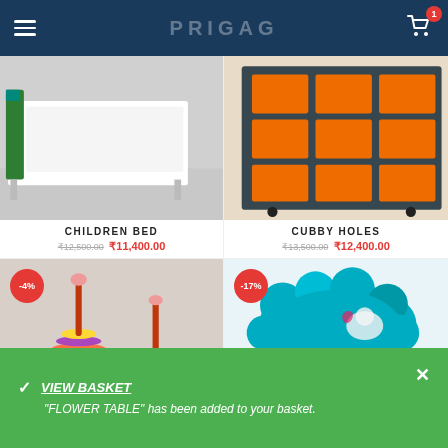PRIGAG
[Figure (photo): Children bed product photo - green and white bed]
CHILDREN BED
₹12,500.00  ₹11,400.00
[Figure (photo): Cubby holes storage unit - navy blue exterior with orange interior cubbies]
CUBBY HOLES
₹13,500.00  ₹12,400.00
[Figure (photo): Colorful stacking rings toy - multi-colored foam rings on orange sticks, -4% badge]
[Figure (photo): Flower table - teal cloud-shaped table top with wooden legs, -17% badge]
VIEW BASKET
"FLOWER TABLE" has been added to your basket.